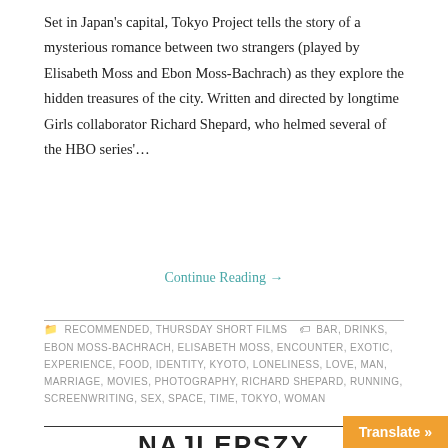Set in Japan’s capital, Tokyo Project tells the story of a mysterious romance between two strangers (played by Elisabeth Moss and Ebon Moss-Bachrach) as they explore the hidden treasures of the city. Written and directed by longtime Girls collaborator Richard Shepard, who helmed several of the HBO series’…
Continue Reading →
RECOMMENDED, THURSDAY SHORT FILMS • BAR, DRINKS, EBON MOSS-BACHRACH, ELISABETH MOSS, ENCOUNTER, EXOTIC, EXPERIENCE, FOOD, IDENTITY, KYOTO, LONELINESS, LOVE, MAN, MARRIAGE, MOVIES, PHOTOGRAPHY, RICHARD SHEPARD, RUNNING, SCREENWRITING, SEX, SPACE, TIME, TOKYO, WOMAN
NAJLEPSZY
JUNE 12, 2018 / ADMIN / LEAVE A COMMENT
[Figure (photo): Dark photo strip at bottom of page]